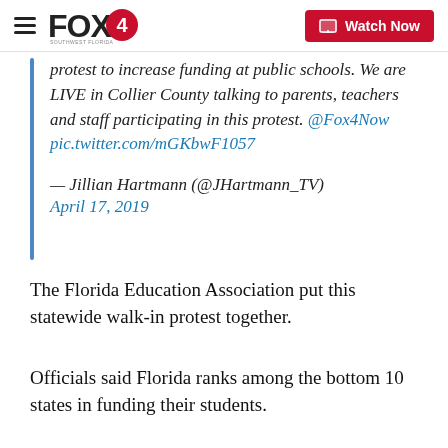FOX 4 | Watch Now
protest to increase funding at public schools. We are LIVE in Collier County talking to parents, teachers and staff participating in this protest. @Fox4Now pic.twitter.com/mGKbwF1057
— Jillian Hartmann (@JHartmann_TV)
April 17, 2019
The Florida Education Association put this statewide walk-in protest together.
Officials said Florida ranks among the bottom 10 states in funding their students.